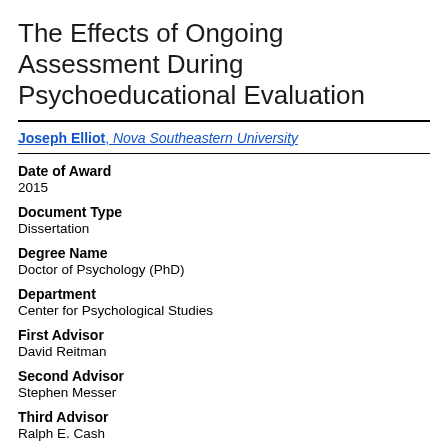The Effects of Ongoing Assessment During Psychoeducational Evaluation
Joseph Elliot, Nova Southeastern University
Date of Award
2015
Document Type
Dissertation
Degree Name
Doctor of Psychology (PhD)
Department
Center for Psychological Studies
First Advisor
David Reitman
Second Advisor
Stephen Messer
Third Advisor
Ralph E. Cash
Keywords
Assessment, Parent Ratings, Score Reduction
Abstract